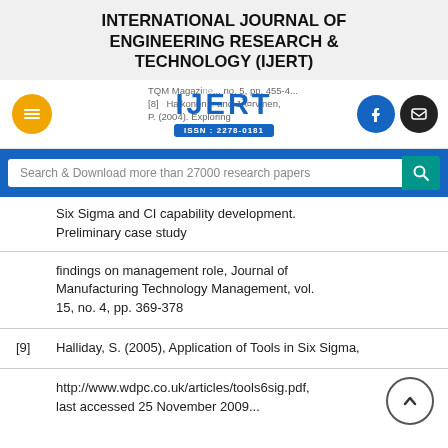INTERNATIONAL JOURNAL OF ENGINEERING RESEARCH & TECHNOLOGY (IJERT)
[Figure (logo): IJERT logo with ISSN 2278-0181, flanked by navigation icons (hamburger menu, Facebook, email)]
TQM Magazine, no. 5, pp. 455-4... [8] Haikonen... and JA¤rvinen, P. (2004). Exploring...
Search & Download more than 27000 research papers
Six Sigma and CI capability development. Preliminary case study
findings on management role, Journal of Manufacturing Technology Management, vol. 15, no. 4, pp. 369-378
[9] Halliday, S. (2005), Application of Tools in Six Sigma,
http://www.wdpc.co.uk/articles/tools6sig.pdf, last accessed 25 November 2009...